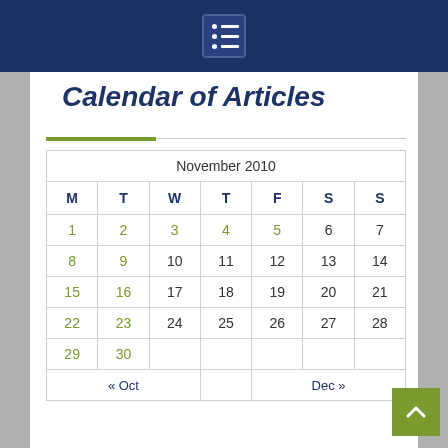menu icon nav
Calendar of Articles
| M | T | W | T | F | S | S |
| --- | --- | --- | --- | --- | --- | --- |
| 1 | 2 | 3 | 4 | 5 | 6 | 7 |
| 8 | 9 | 10 | 11 | 12 | 13 | 14 |
| 15 | 16 | 17 | 18 | 19 | 20 | 21 |
| 22 | 23 | 24 | 25 | 26 | 27 | 28 |
| 29 | 30 |  |  |  |  |  |
| « Oct |  |  |  | Dec » |  |  |